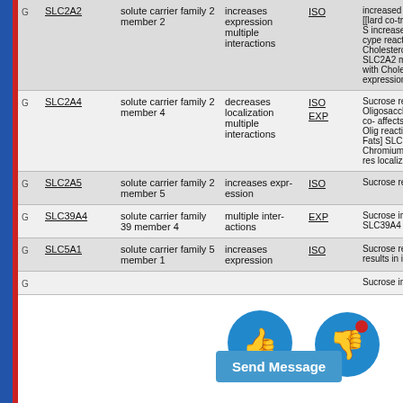| Type | Gene | Description | Action | Code | Details |
| --- | --- | --- | --- | --- | --- |
| G | SLC2A2 | solute carrier family 2 member 2 | increases expression multiple interactions | ISO | increased ex mRNA; Atraz [[lard co-trea treated with S increased ex mRNA]; cype reaction [[lar Cholesterol c results in inc SLC2A2 mR promotes the with Choleste Sucrose] res expression o |
| G | SLC2A4 | solute carrier family 2 member 4 | decreases localization multiple interactions | ISO EXP | Sucrose resu localization o Oligosacchar [[Sucrose co- affects the ex mRNA]; Olig reaction [[Su Dietary Fats] SLC2A4 prot Chromium inh [Sucrose res localization o |
| G | SLC2A5 | solute carrier family 2 member 5 | increases expression | ISO | Sucrose resu expression o |
| G | SLC39A4 | solute carrier family 39 member 4 | multiple interactions | EXP | Sucrose inhib results in inc SLC39A4 pro |
| G | SLC5A1 | solute carrier family 5 member 1 | increases expression | ISO | Sucrose resu ression o results in inc SLC5A1 prot |
| G |  |  |  |  | Sucrose inhib |